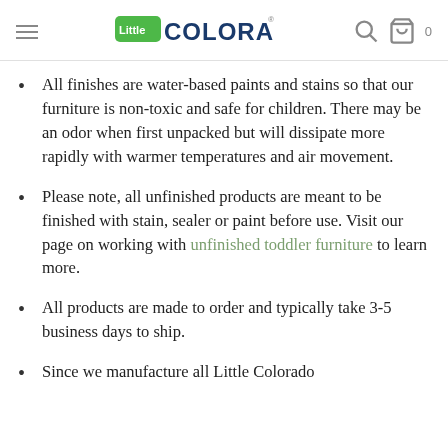Little Colorado
All finishes are water-based paints and stains so that our furniture is non-toxic and safe for children. There may be an odor when first unpacked but will dissipate more rapidly with warmer temperatures and air movement.
Please note, all unfinished products are meant to be finished with stain, sealer or paint before use. Visit our page on working with unfinished toddler furniture to learn more.
All products are made to order and typically take 3-5 business days to ship.
Since we manufacture all Little Colorado